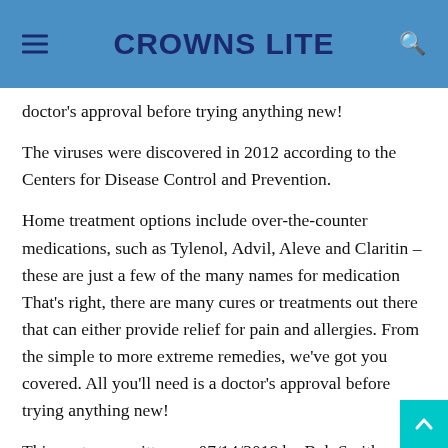CROWNS LITE
doctor's approval before trying anything new!
The viruses were discovered in 2012 according to the Centers for Disease Control and Prevention.
Home treatment options include over-the-counter medications, such as Tylenol, Advil, Aleve and Claritin – these are just a few of the many names for medication That's right, there are many cures or treatments out there that can either provide relief for pain and allergies. From the simple to more extreme remedies, we've got you covered. All you'll need is a doctor's approval before trying anything new!
This post was written on 07/14/2018 by Bob Smith
A coronavirus is an infection found in humans which causes